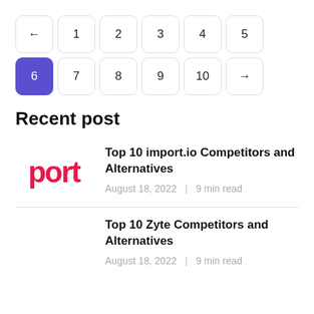← 1 2 3 4 5 6 7 8 9 10 →
Recent post
Top 10 import.io Competitors and Alternatives
August 18, 2022 | 9 min read
Top 10 Zyte Competitors and Alternatives
August 18, 2022 | 9 min read